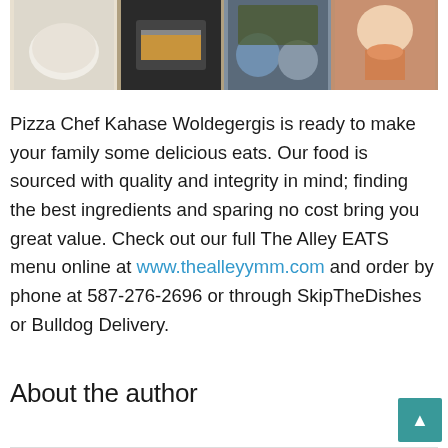[Figure (photo): A horizontal strip of four food photos: pizza dough ball, pizza being put into oven, pizza toppings ingredients in bowls, child eating a slice of pizza.]
Pizza Chef Kahase Woldegergis is ready to make your family some delicious eats. Our food is sourced with quality and integrity in mind; finding the best ingredients and sparing no cost bring you great value. Check out our full The Alley EATS menu online at www.thealleyymm.com and order by phone at 587-276-2696 or through SkipTheDishes or Bulldog Delivery.
About the author